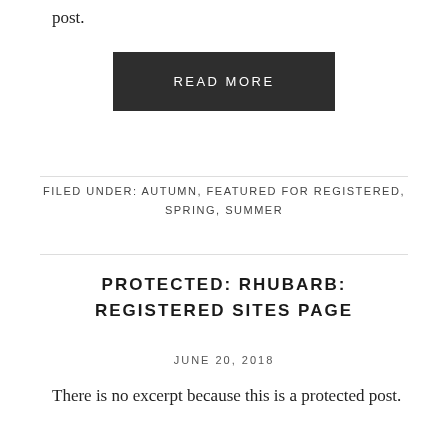post.
[Figure (other): Dark button with text READ MORE]
FILED UNDER: AUTUMN, FEATURED FOR REGISTERED, SPRING, SUMMER
PROTECTED: RHUBARB: REGISTERED SITES PAGE
JUNE 20, 2018
There is no excerpt because this is a protected post.